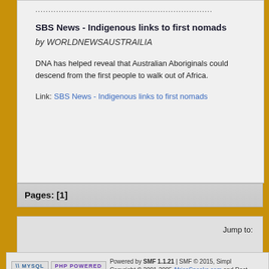....................................................................
SBS News - Indigenous links to first nomads
by WORLDNEWSAUSTRAILIA
DNA has helped reveal that Australian Aboriginals could descend from the first people to walk out of Africa.
Link: SBS News - Indigenous links to first nomads
Pages: [1]
Jump to:
Powered by SMF 1.1.21 | SMF © 2015, Simple Machines Copyright © 2001-2005 AfricaSpeaks.com and RastafariSpeaks.com